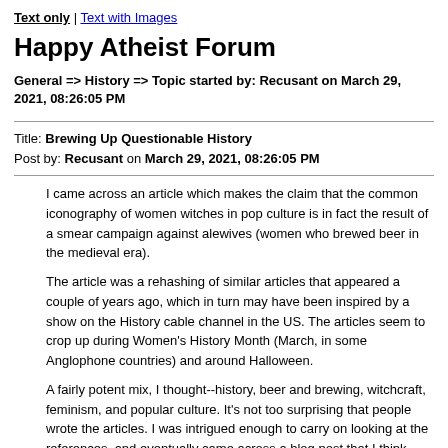Text only | Text with Images
Happy Atheist Forum
General => History => Topic started by: Recusant on March 29, 2021, 08:26:05 PM
Title: Brewing Up Questionable History
Post by: Recusant on March 29, 2021, 08:26:05 PM
I came across an article which makes the claim that the common iconography of women witches in pop culture is in fact the result of a smear campaign against alewives (women who brewed beer in the medieval era).
The article was a rehashing of similar articles that appeared a couple of years ago, which in turn may have been inspired by a show on the History cable channel in the US. The articles seem to crop up during Women's History Month (March, in some Anglophone countries) and around Halloween.
A fairly potent mix, I thought--history, beer and brewing, witchcraft, feminism, and popular culture. It's not too surprising that people wrote the articles. I was intrigued enough to carry on looking at the references, and eventually came across a blog post that I think does a good job of debunking the claims made in the articles. I'll give a link to the article that I began with, and a quote. I'll also provide links to other